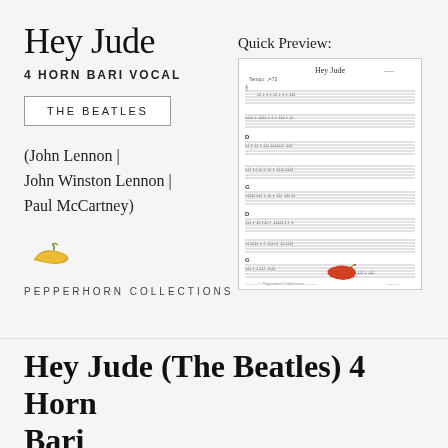Hey Jude
4 HORN BARI VOCAL
THE BEATLES
(John Lennon | John Winston Lennon | Paul McCartney)
[Figure (logo): Pepperhorn Collections golden chili pepper logo]
PEPPERHORN COLLECTIONS
Quick Preview:
[Figure (other): Quick preview thumbnail of Hey Jude sheet music - 4 Horn Bari Vocal, showing multiple lines of musical notation with a red marking near the bottom]
Hey Jude (The Beatles) 4 Horn Bari
$15.99 USD
A description of the product...